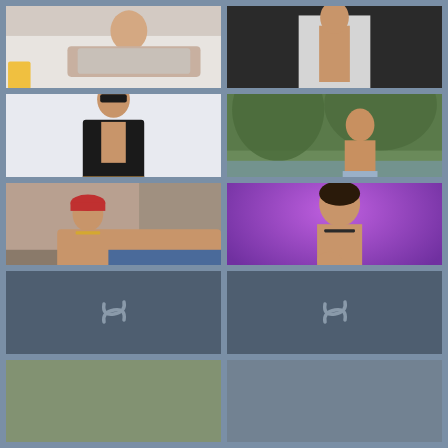[Figure (photo): Young man in light gray t-shirt reclining on white couch with yellow pillow]
[Figure (photo): Young man in open white shirt showing torso, dark pants]
[Figure (photo): Young man in sunglasses wearing black leather vest, showing muscular torso]
[Figure (photo): Shirtless young man outdoors near river/trees, showing back with tattoo]
[Figure (photo): Young man in red cap reclining, shirtless with necklace]
[Figure (photo): Shirtless young man against purple background, looking down]
[Figure (photo): Loading placeholder with spinner icon]
[Figure (photo): Loading placeholder with spinner icon]
[Figure (photo): Partially visible photo at bottom left]
[Figure (photo): Partially visible photo at bottom right]